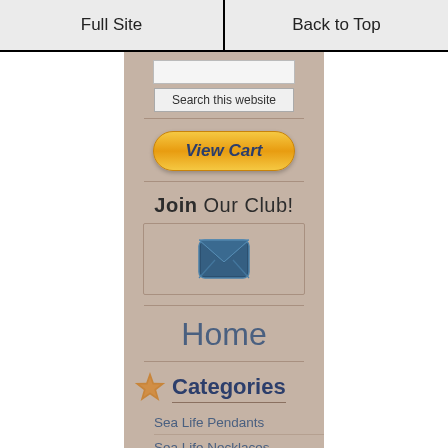Full Site | Back to Top
[Figure (screenshot): Search input box partially visible]
Search this website
[Figure (other): View Cart button with orange gradient styling]
[Figure (other): Join Our Club! section with envelope icon inside bordered box]
Home
Categories
Sea Life Pendants
Sea Life Necklaces
Sea Life Earrings
Sea Life Rings
Sea Life Charms
Sea Life Bracelets